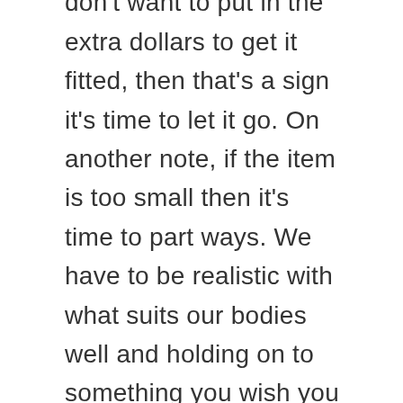to take it in. And if you don't want to put in the extra dollars to get it fitted, then that's a sign it's time to let it go. On another note, if the item is too small then it's time to part ways. We have to be realistic with what suits our bodies well and holding on to something you wish you could fit is only going to make you feel some sort of way with where you are. Don't hold on to those items; let it go!